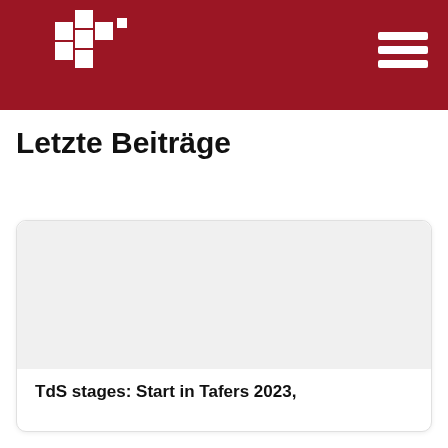Letzte Beiträge
[Figure (screenshot): White card with empty image area placeholder]
TdS stages: Start in Tafers 2023,